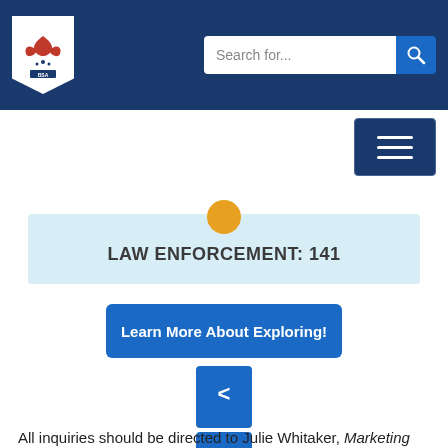BSA website header with logo, search bar, and navigation menu
LAW ENFORCEMENT: 141
Learn More About Exploring!
<
>
All inquiries should be directed to Julie Whitaker, Marketing